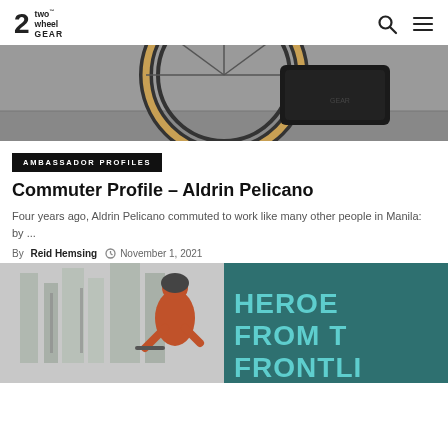2 two wheel GEAR
[Figure (photo): Close-up photo of a bicycle wheel with a tan/brown tire and a black pannier bag attached, on a gray pavement surface.]
AMBASSADOR PROFILES
Commuter Profile – Aldrin Pelicano
Four years ago, Aldrin Pelicano commuted to work like many other people in Manila: by ...
By Reid Hemsing  November 1, 2021
[Figure (photo): Photo of a person wearing a cycling helmet and orange jacket riding a bicycle in an urban setting with tall buildings in the background. On the right side is a sign with teal text reading HEROES FROM THE FRONTLI...]